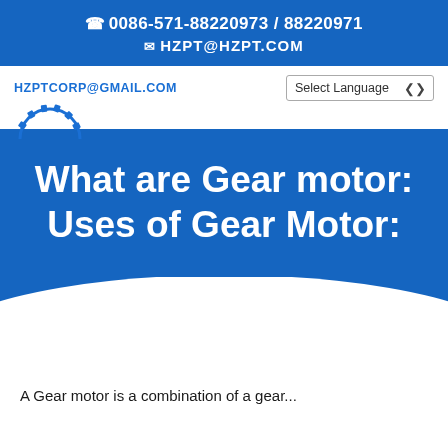0086-571-88220973 / 88220971
HZPT@HZPT.COM
HZPTCORP@GMAIL.COM
What are Gear motor: Uses of Gear Motor:
A Gear motor is a combination of a gear...